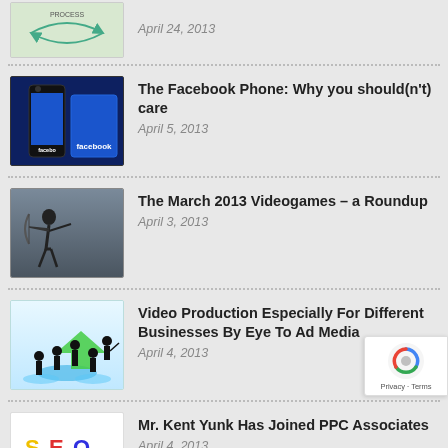[Figure (other): Thumbnail image of a process diagram with green arrows]
April 24, 2013
[Figure (photo): Facebook phone/HTC First smartphone with Facebook branding]
The Facebook Phone: Why you should(n't) care
April 5, 2013
[Figure (photo): Silhouette of person doing archery against cloudy sky]
The March 2013 Videogames – a Roundup
April 3, 2013
[Figure (illustration): Business team silhouettes standing on blue platforms with green arrow, video production concept]
Video Production Especially For Different Businesses By Eye To Ad Media
April 4, 2013
[Figure (illustration): SEO text in colorful letters with cartoon business people figures below]
Mr. Kent Yunk Has Joined PPC Associates
April 4, 2013
[Figure (photo): Partial circular blue thumbnail image]
Report Shows, Soon Clerical Jobs Are Going